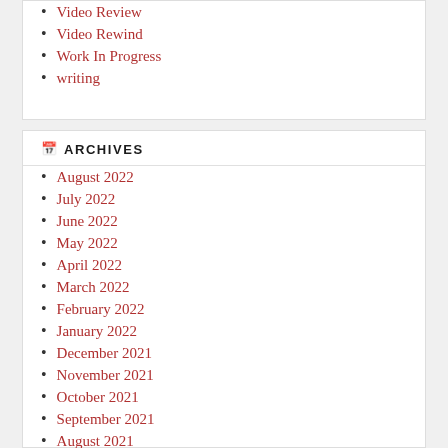Video Review
Video Rewind
Work In Progress
writing
ARCHIVES
August 2022
July 2022
June 2022
May 2022
April 2022
March 2022
February 2022
January 2022
December 2021
November 2021
October 2021
September 2021
August 2021